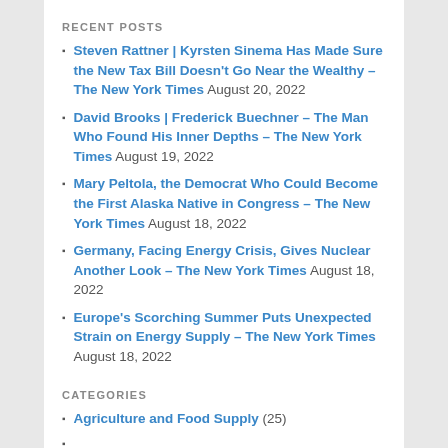RECENT POSTS
Steven Rattner | Kyrsten Sinema Has Made Sure the New Tax Bill Doesn't Go Near the Wealthy – The New York Times August 20, 2022
David Brooks | Frederick Buechner – The Man Who Found His Inner Depths – The New York Times August 19, 2022
Mary Peltola, the Democrat Who Could Become the First Alaska Native in Congress – The New York Times August 18, 2022
Germany, Facing Energy Crisis, Gives Nuclear Another Look – The New York Times August 18, 2022
Europe's Scorching Summer Puts Unexpected Strain on Energy Supply – The New York Times August 18, 2022
CATEGORIES
Agriculture and Food Supply (25)
Biology (19)
Ecology (15)